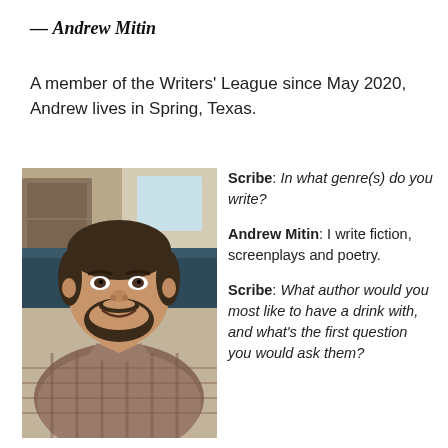— Andrew Mitin
A member of the Writers' League since May 2020, Andrew lives in Spring, Texas.
[Figure (photo): Headshot photo of Andrew Mitin, a man with dark hair and beard, smiling, wearing a plaid shirt, seated indoors.]
Scribe: In what genre(s) do you write?
Andrew Mitin: I write fiction, screenplays and poetry.
Scribe: What author would you most like to have a drink with, and what's the first question you would ask them?